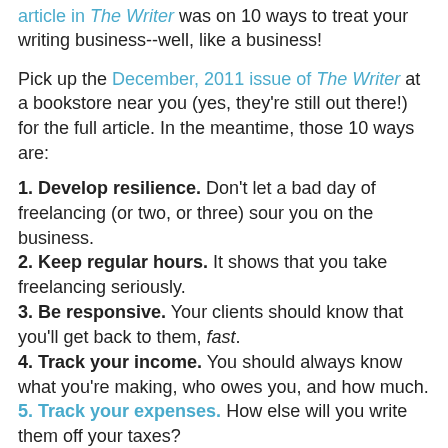article in The Writer was on 10 ways to treat your writing business--well, like a business!
Pick up the December, 2011 issue of The Writer at a bookstore near you (yes, they're still out there!) for the full article. In the meantime, those 10 ways are:
1. Develop resilience. Don't let a bad day of freelancing (or two, or three) sour you on the business.
2. Keep regular hours. It shows that you take freelancing seriously.
3. Be responsive. Your clients should know that you'll get back to them, fast.
4. Track your income. You should always know what you're making, who owes you, and how much.
5. Track your expenses. How else will you write them off your taxes?
6. Stretch yourself. You've got to continually learn new skills to stay marketable.
7. Follow up on every pitch. Following up isn't being a pest; it's being a pro.
8. Think before you write. If you're not sure whether you send that email, don't.